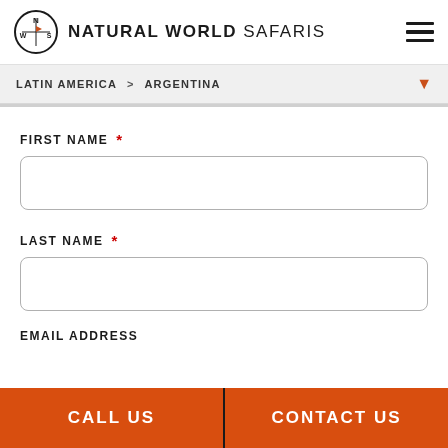NATURAL WORLD SAFARIS
LATIN AMERICA > ARGENTINA
FIRST NAME *
LAST NAME *
EMAIL ADDRESS
CALL US | CONTACT US